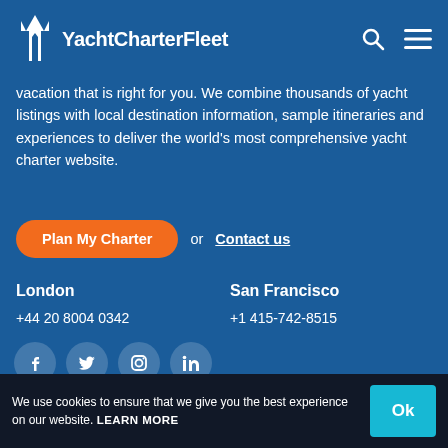YachtCharterFleet
vacation that is right for you. We combine thousands of yacht listings with local destination information, sample itineraries and experiences to deliver the world's most comprehensive yacht charter website.
Plan My Charter or Contact us
London +44 20 8004 0342
San Francisco +1 415-742-8515
[Figure (infographic): Social media icons: Facebook, Twitter, Instagram, LinkedIn]
Contact Us   Add My Yacht   Affiliates & Partners
We use cookies to ensure that we give you the best experience on our website. LEARN MORE Ok